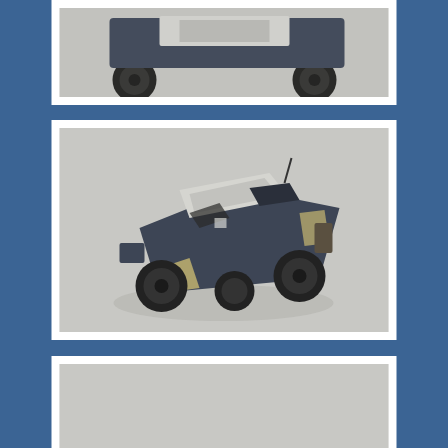[Figure (photo): Top portion of a military scale model vehicle (armored car/scout car) in dark grey/blue camouflage paint, photographed on a light grey background, partially cropped at top of page]
[Figure (photo): Overhead-angled view of a painted military scale model scout car (Dingo/armored car) in dark grey-blue with tan/cream camouflage patches, with a white-painted roof section, on a light grey background]
[Figure (photo): Side view of a painted military scale model scout car (Dingo/armored car) in dark grey-blue with tan/cream camouflage patches and white roof section, photographed on a light grey background, partially cropped at bottom]